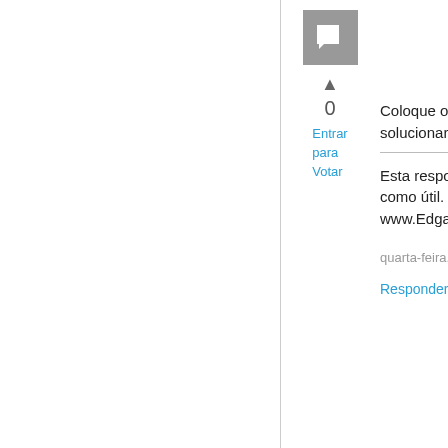[Figure (illustration): Grey square avatar icon with a chat/flag symbol inside]
0
Entrar para Votar
Coloque os erros irá ajudar a solucionar os problemas.
Esta resposta lhe ajudou? Marque a como útil. -- www.EdgarEsteves.com.br
quarta-feira, 6 de outubro de 2010 16:07
Responder | Citação